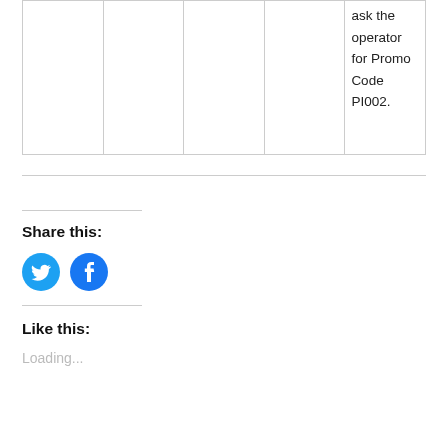|  |  |  |  | ask the operator for Promo Code PI002. |
Share this:
[Figure (other): Twitter and Facebook social sharing buttons (blue circle icons)]
Like this:
Loading...